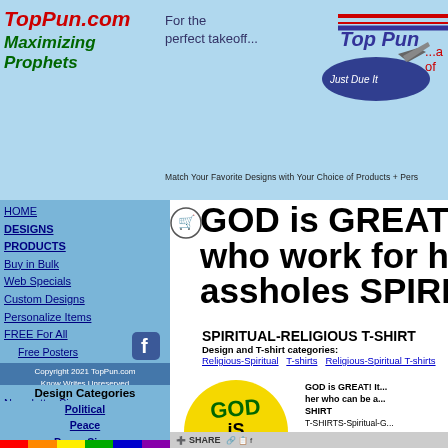[Figure (logo): TopPun.com logo with Maximizing Prophets tagline in red italic and green italic text]
[Figure (logo): TopPun logo with airplane graphic, red and navy stripes, Just Due It tagline]
For the perfect takeoff...
Match Your Favorite Designs with Your Choice of Products + Per...
HOME
DESIGNS
PRODUCTS
Buy in Bulk
Web Specials
Custom Designs
Personalize Items
FREE For All
Free Posters
Free Wallpapers
Top Pun BLOG
Newsletter Sign-up
About Top Pun
Copyright 2021 TopPun.com Know Writes Unreserved
GOD is GREAT! It's t who work for her wh assholes SPIRITUA
SPIRITUAL-RELIGIOUS T-SHIRT
Design and T-shirt categories:
Religious-Spiritual   T-shirts   Religious-Spiritual T-shirts
[Figure (illustration): Yellow circle with GOD is GREAT text and brown oval with It's the people Who Work For Her Who Can Be aSSHOLeS text]
GOD is GREAT! It...her who can be a...SHIRT
T-SHIRTS-Spiritual-G...
$17.95
T-shirts are all white, p design. T-shirts are av Vapor Apparel, moistu
Design Categories
Political
Peace
Peace Signs
Anti-War
Spiritual-Religious
Martin Luther King
Gay Pride